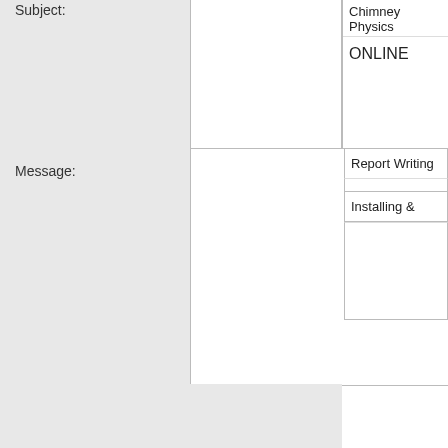Subject:
Chimney Physics
ONLINE
Message:
Report Writing
Installing &
[Figure (screenshot): reCAPTCHA widget with checkbox labeled 'I'm not a robot']
Installing & (Date: 9/1/20
Troubleshooting
Woodburn
Hearth
Appliances
ERROR fo
Invalid do
To ensure the technician can